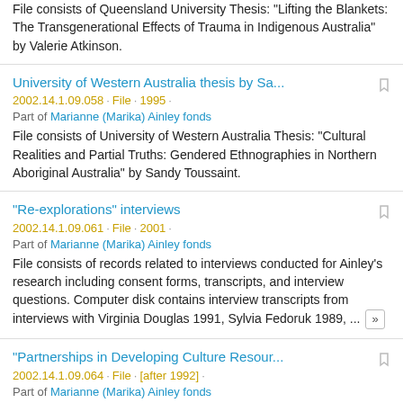File consists of Queensland University Thesis: "Lifting the Blankets: The Transgenerational Effects of Trauma in Indigenous Australia" by Valerie Atkinson.
University of Western Australia thesis by Sa...
2002.14.1.09.058 · File · 1995 ·
Part of Marianne (Marika) Ainley fonds
File consists of University of Western Australia Thesis: "Cultural Realities and Partial Truths: Gendered Ethnographies in Northern Aboriginal Australia" by Sandy Toussaint.
"Re-explorations" interviews
2002.14.1.09.061 · File · 2001 ·
Part of Marianne (Marika) Ainley fonds
File consists of records related to interviews conducted for Ainley's research including consent forms, transcripts, and interview questions. Computer disk contains interview transcripts from interviews with Virginia Douglas 1991, Sylvia Fedoruk 1989, ... »
"Partnerships in Developing Culture Resour...
2002.14.1.09.064 · File · [after 1992] ·
Part of Marianne (Marika) Ainley fonds